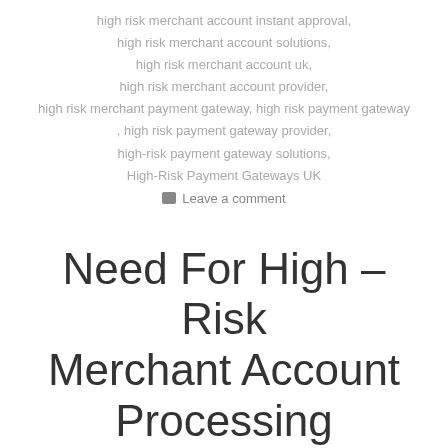high risk merchant account instant approval,
high risk merchant account solutions,
high risk merchant account uk,
high risk merchant account provider,
high risk merchant payment gateway, high risk payment gateway
, high risk payment gateway provider,
high-risk payment gateway solutions,
High-Risk Payment Gateways UK
Leave a comment
Need For High – Risk Merchant Account Processing